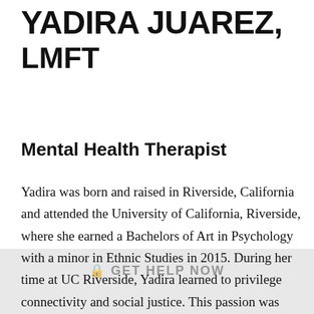YADIRA JUAREZ, LMFT
Mental Health Therapist
Yadira was born and raised in Riverside, California and attended the University of California, Riverside, where she earned a Bachelors of Art in Psychology with a minor in Ethnic Studies in 2015. During her time at UC Riverside, Yadira learned to privilege connectivity and social justice. This passion was further developed during her time as an Applied Behavioral Analysis interventionist,